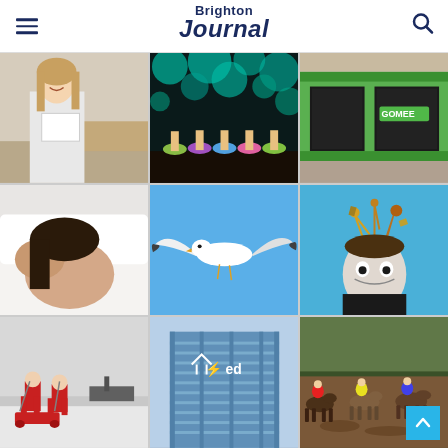Brighton Journal
[Figure (photo): Girl smiling holding a paper/document, school exam results]
[Figure (photo): Ballet dancers performing on stage with teal circle lights backdrop]
[Figure (photo): Green shopfront/restaurant exterior street view]
[Figure (photo): Person lying on white bedding viewed from behind]
[Figure (photo): Seagull in flight against blue sky]
[Figure (photo): Illustrated/surreal image of man with objects exploding from head on blue background]
[Figure (photo): Two people in red suits on snowy/icy terrain with ship in background]
[Figure (photo): Modern office building with EDF logo]
[Figure (photo): Horse racing - jockeys racing on muddy track, view from behind]